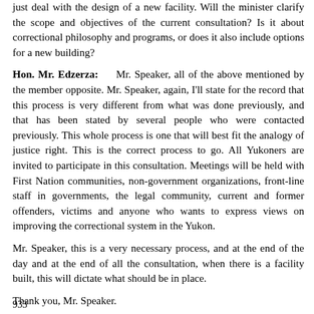just deal with the design of a new facility. Will the minister clarify the scope and objectives of the current consultation? Is it about correctional philosophy and programs, or does it also include options for a new building?
Hon. Mr. Edzerza: Mr. Speaker, all of the above mentioned by the member opposite. Mr. Speaker, again, I'll state for the record that this process is very different from what was done previously, and that has been stated by several people who were contacted previously. This whole process is one that will best fit the analogy of justice right. This is the correct process to go. All Yukoners are invited to participate in this consultation. Meetings will be held with First Nation communities, non-government organizations, front-line staff in governments, the legal community, current and former offenders, victims and anyone who wants to express views on improving the correctional system in the Yukon.
Mr. Speaker, this is a very necessary process, and at the end of the day and at the end of all the consultation, when there is a facility built, this will dictate what should be in place.
Thank you, Mr. Speaker.
933